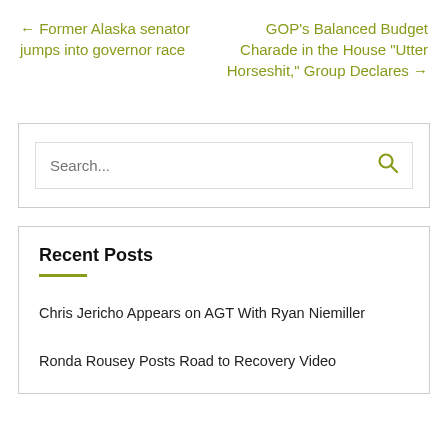← Former Alaska senator jumps into governor race
GOP's Balanced Budget Charade in the House "Utter Horseshit," Group Declares →
[Figure (other): Search bar widget with text input field showing 'Search...' placeholder and an olive/green magnifying glass icon]
Recent Posts
Chris Jericho Appears on AGT With Ryan Niemiller
Ronda Rousey Posts Road to Recovery Video